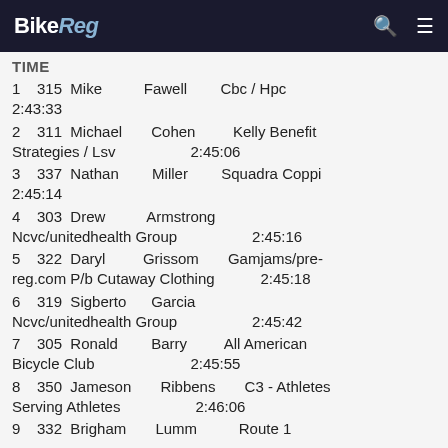BikeReg
TIME
1  315  Mike  Fawell  Cbc / Hpc  2:43:33
2  311  Michael  Cohen  Kelly Benefit Strategies / Lsv  2:45:06
3  337  Nathan  Miller  Squadra Coppi  2:45:14
4  303  Drew  Armstrong  Ncvc/unitedhealth Group  2:45:16
5  322  Daryl  Grissom  Gamjams/pre-reg.com P/b Cutaway Clothing  2:45:18
6  319  Sigberto  Garcia  Ncvc/unitedhealth Group  2:45:42
7  305  Ronald  Barry  All American Bicycle Club  2:45:55
8  350  Jameson  Ribbens  C3 - Athletes Serving Athletes  2:46:06
9  332  Brigham  Lumm  Route 1